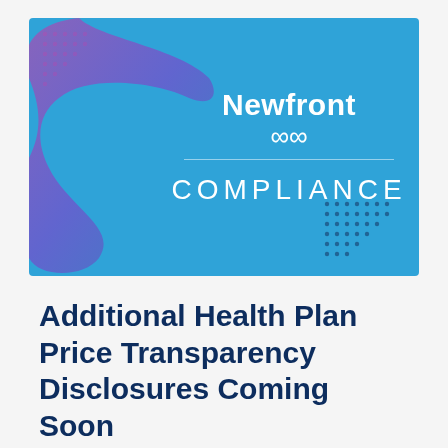[Figure (logo): Newfront Compliance banner — bright blue background with decorative pink and dark-blue dot grids, a large purple-to-blue curved ribbon shape on the left, white 'Newfront' wordmark with an infinity symbol below it, a thin white horizontal divider, and 'COMPLIANCE' in wide-spaced white letters.]
Additional Health Plan Price Transparency Disclosures Coming Soon